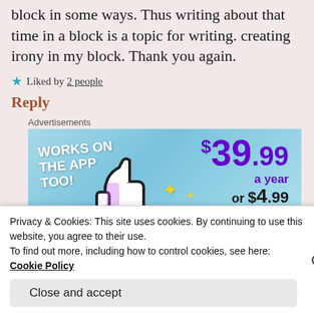block in some ways. Thus writing about that time in a block is a topic for writing. creating irony in my block. Thank you again.
★ Liked by 2 people
Reply
Advertisements
[Figure (illustration): Advertisement banner: 'WORKS ON THE APP TOO!' with pricing $39.99 a year or $4.99 a month + FREE SHIPPING, featuring a thumbs-up icon and sparkle stars on a blue background.]
Privacy & Cookies: This site uses cookies. By continuing to use this website, you agree to their use.
To find out more, including how to control cookies, see here: Cookie Policy
Close and accept